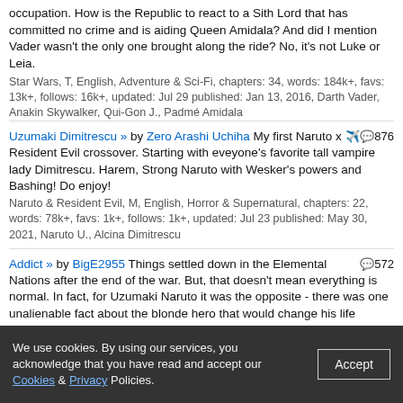occupation. How is the Republic to react to a Sith Lord that has committed no crime and is aiding Queen Amidala? And did I mention Vader wasn't the only one brought along the ride? No, it's not Luke or Leia.
Star Wars, T, English, Adventure & Sci-Fi, chapters: 34, words: 184k+, favs: 13k+, follows: 16k+, updated: Jul 29 published: Jan 13, 2016, Darth Vader, Anakin Skywalker, Qui-Gon J., Padmé Amidala
Uzumaki Dimitrescu » by Zero Arashi Uchiha My first Naruto x Resident Evil crossover. Starting with eveyone's favorite tall vampire lady Dimitrescu. Harem, Strong Naruto with Wesker's powers and Bashing! Do enjoy! 876
Naruto & Resident Evil, M, English, Horror & Supernatural, chapters: 22, words: 78k+, favs: 1k+, follows: 1k+, updated: Jul 23 published: May 30, 2021, Naruto U., Alcina Dimitrescu
Addict » by BigE2955 Things settled down in the Elemental Nations after the end of the war. But, that doesn't mean everything is normal. In fact, for Uzumaki Naruto it was the opposite - there was one unalienable fact about the blonde hero that would change his life forever: he was a sex addict. And that one thing would change his life forever. Naruto/Harem, many many lemons. 572
Naruto, M, English, Romance & Humor, chapters: 16, words: 74k+, favs: 2k+, follows: 3k+, updated: Jul 4 published: Jun 14, 2018, Naruto U., Sakura H., Hinata H., Temari
Forged in Dragon's Fire » by TheSilverboar Vale had fallen and Salem's Grimm dragons were spreading. Strike them down and they rise again. The solution provided by Djinn herself? "Find Jaune Arc 82
We use cookies. By using our services, you acknowledge that you have read and accept our Cookies & Privacy Policies.
Accept